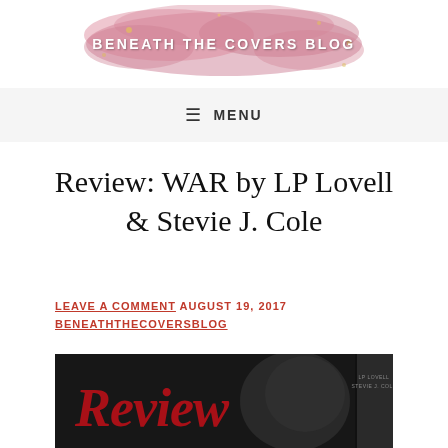BENEATH THE COVERS BLOG
MENU
Review: WAR by LP Lovell & Stevie J. Cole
LEAVE A COMMENT AUGUST 19, 2017
BENEATHTHECOVERSBLOG
[Figure (photo): Book cover image for WAR by LP Lovell & Stevie J. Cole showing red script text 'Review' over a dark background with a book spine visible on the right]